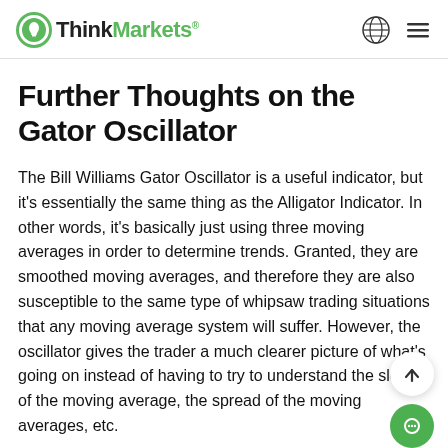ThinkMarkets
Further Thoughts on the Gator Oscillator
The Bill Williams Gator Oscillator is a useful indicator, but it's essentially the same thing as the Alligator Indicator. In other words, it's basically just using three moving averages in order to determine trends. Granted, they are smoothed moving averages, and therefore they are also susceptible to the same type of whipsaw trading situations that any moving average system will suffer. However, the oscillator gives the trader a much clearer picture of what's going on instead of having to try to understand the slope of the moving average, the spread of the moving averages, etc.